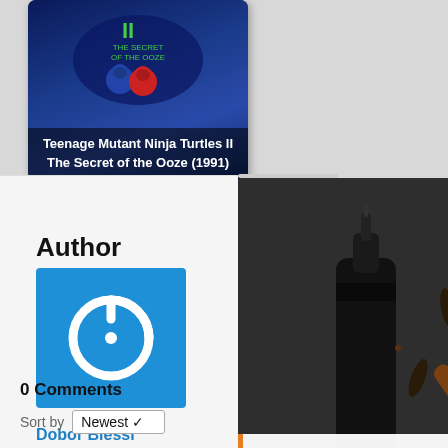[Figure (screenshot): Movie poster thumbnail for Teenage Mutant Ninja Turtles II The Secret of the Ooze (1991) with dark blue background and ninja turtle silhouettes]
Teenage Mutant Ninja Turtles II The Secret of the Ooze (1991)
Author
[Figure (logo): Blue square with white power button icon - author avatar placeholder]
Dobor Blessi
kisscartoon's e
[Figure (photo): Advertisement image showing essential oils bottle, cinnamon sticks, cloves and herbs on dark background with VDO.AI branding and caption: Do Essential Oils Control Or Reduce Snoring? 10 Oils To Help You Sleep]
Do Essential Oils Control Or Reduce Snoring? 10 Oils To Help You Sleep
0 Comments
Sort by Newest